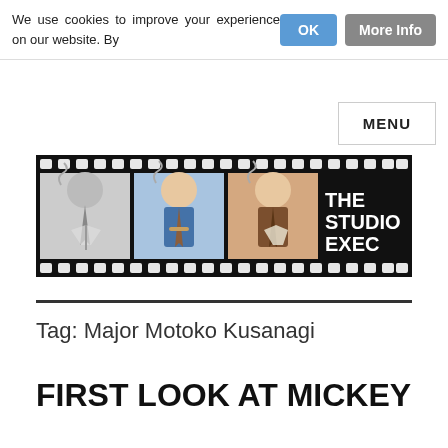We use cookies to improve your experience on our website. By
OK
More Info
MENU
[Figure (illustration): The Studio Exec logo: a film strip showing cartoon illustrations of a man in a suit holding a martini glass and cigar, rendered in greyscale, blue, and brown panels, with 'THE STUDIO EXEC' text on black background.]
Tag: Major Motoko Kusanagi
FIRST LOOK AT MICKEY